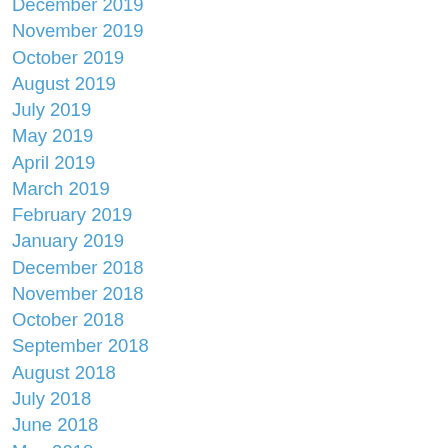December 2019
November 2019
October 2019
August 2019
July 2019
May 2019
April 2019
March 2019
February 2019
January 2019
December 2018
November 2018
October 2018
September 2018
August 2018
July 2018
June 2018
May 2018
April 2018
March 2018
January 2018